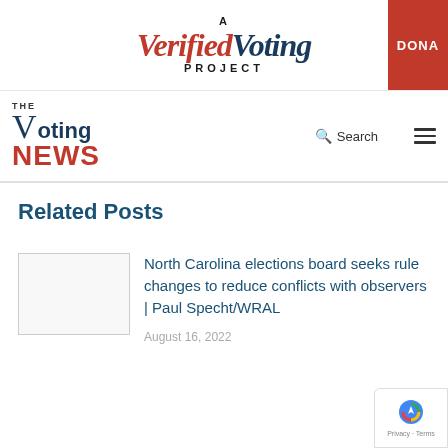A Verified Voting Project | DONATE
[Figure (logo): The Voting News logo with search and menu icons]
Related Posts
[Figure (photo): Thumbnail image placeholder for article]
North Carolina elections board seeks rule changes to reduce conflicts with observers | Paul Specht/WRAL
August 16, 2022